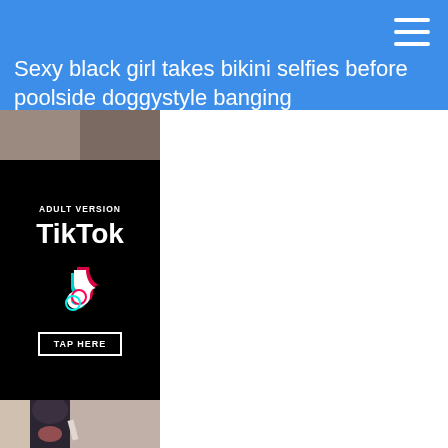Sexy black girl takes bikini selfies before poolside doggystyle banging
[Figure (advertisement): Adult TikTok advertisement with black background showing 'ADULT VERSION' text, TikTok logo and icon in white/cyan/red, and a 'TAP HERE' button with white border]
[Figure (photo): Photo of a woman with dark hair holding a cigarette, mouth open]